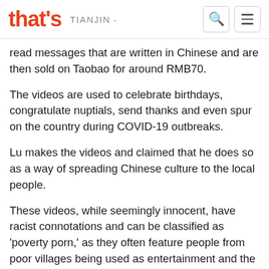that's TIANJIN
read messages that are written in Chinese and are then sold on Taobao for around RMB70.
The videos are used to celebrate birthdays, congratulate nuptials, send thanks and even spur on the country during COVID-19 outbreaks.
Lu makes the videos and claimed that he does so as a way of spreading Chinese culture to the local people.
These videos, while seemingly innocent, have racist connotations and can be classified as 'poverty porn,' as they often feature people from poor villages being used as entertainment and the profit of others.
Other videos are just outright racist and show villagers repeating messages such as, "We will not go to China" and "Yellow skin and dark eyes are the most beautiful